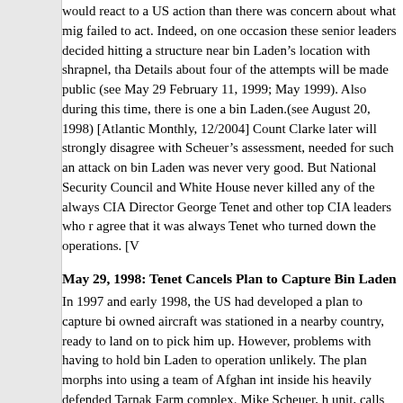would react to a US action than there was concern about what mig failed to act. Indeed, on one occasion these senior leaders decided hitting a structure near bin Laden’s location with shrapnel, tha Details about four of the attempts will be made public (see May 29 February 11, 1999; May 1999). Also during this time, there is one a bin Laden.(see August 20, 1998) [Atlantic Monthly, 12/2004] Count Clarke later will strongly disagree with Scheuer’s assessment, needed for such an attack on bin Laden was never very good. But National Security Council and White House never killed any of the always CIA Director George Tenet and other top CIA leaders who r agree that it was always Tenet who turned down the operations. [V
May 29, 1998: Tenet Cancels Plan to Capture Bin Laden
In 1997 and early 1998, the US had developed a plan to capture bi owned aircraft was stationed in a nearby country, ready to land on to pick him up. However, problems with having to hold bin Laden to operation unlikely. The plan morphs into using a team of Afghan int inside his heavily defended Tarnak Farm complex. Mike Scheuer, h unit, calls the plan “the perfect operation.” Gary Schroen, the agrees, and gives it about a 40 percent chance of succeeding. How skeptical of the plan and worry that innocent civilians might die. Th George Tenet for approval, but on May 29, 1998, he rejects it witho He considers it too unlikely to succeed and decides the Afghan alli pp. 220-21; Washington Post, 2/22/2004; Vanity Fair, 11/2004] Ado promised to try to bribe the Taliban and try bin Laden themselves, a plan (see May 1998). Scheuer is furious and after 9/11 he will com against this man and organization than we ever had on any other g group, and definitive and widely varied [intelligence] across all the why they didn’t take the chance.” [Vanity Fair, 11/2004] It is used for these purposes is occupied and will be used as a base of